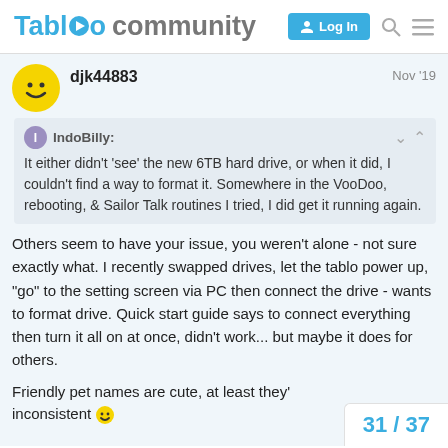[Figure (screenshot): Tablo community website header with logo, Log In button, search icon, and menu icon]
djk44883
Nov '19
IndoBilly:
It either didn't 'see' the new 6TB hard drive, or when it did, I couldn't find a way to format it. Somewhere in the VooDoo, rebooting, & Sailor Talk routines I tried, I did get it running again.
Others seem to have your issue, you weren't alone - not sure exactly what. I recently swapped drives, let the tablo power up, "go" to the setting screen via PC then connect the drive - wants to format drive. Quick start guide says to connect everything then turn it all on at once, didn't work... but maybe it does for others.
Friendly pet names are cute, at least they'... inconsistent
31 / 37